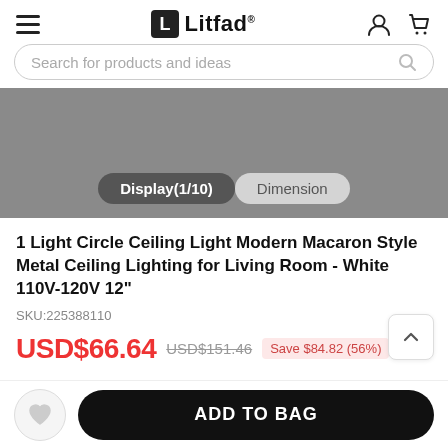Litfad
Search for products and ideas
[Figure (screenshot): Product image area showing Display(1/10) and Dimension tabs over a grey background]
1 Light Circle Ceiling Light Modern Macaron Style Metal Ceiling Lighting for Living Room - White 110V-120V 12"
SKU:225388110
USD$66.64  USD$151.46  Save $84.82 (56%)
FREE Shipping to US
ADD TO BAG